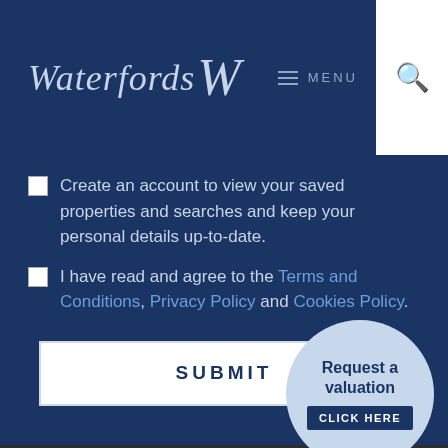Waterfords — MENU navigation header with search icon
Create an account to view your saved properties and searches and keep your personal details up-to-date.
I have read and agree to the Terms and Conditions, Privacy Policy and Cookies Policy.
SUBMIT
About Us
Contact Us
[Figure (infographic): Request a valuation circular badge with CLICK HERE button]